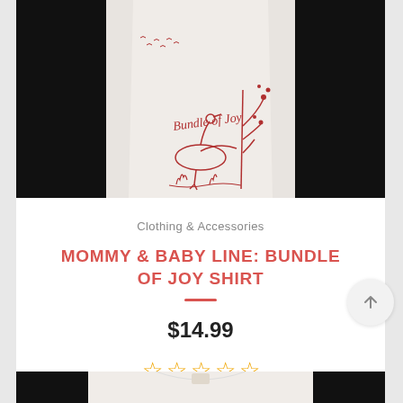[Figure (photo): White maternity t-shirt with red 'Bundle of Joy' script and stork/heron illustration on a dark background]
Clothing & Accessories
MOMMY & BABY LINE: BUNDLE OF JOY SHIRT
$14.99
[Figure (other): Five empty star rating icons in orange/gold]
[Figure (photo): Partial view of another product image at bottom of page]